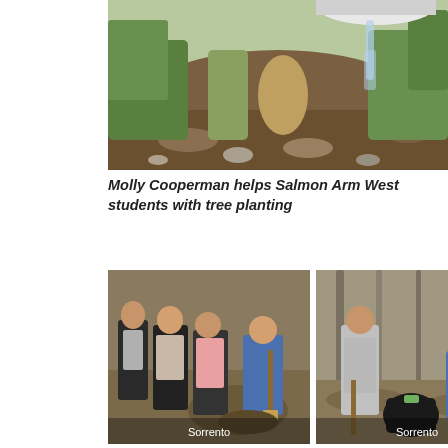[Figure (photo): Water being poured from a white bucket onto rocky soil with green grass and plants in the background. Tree planting scene.]
Molly Cooperman helps Salmon Arm West students with tree planting
[Figure (photo): Children standing and digging with a shovel in dirt during a tree planting activity. Label: Sorrento]
[Figure (photo): Children and adult planting trees in a wooded area, one person carrying a black bag. Label: Sorrento]